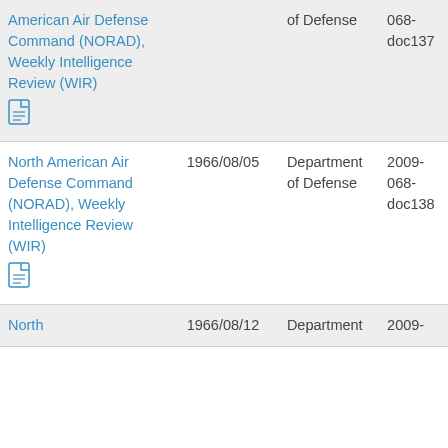| Title | Date | Organization | ID |
| --- | --- | --- | --- |
| North American Air Defense Command (NORAD), Weekly Intelligence Review (WIR) [PDF] |  | Department of Defense | 2009-068-doc137 |
| North American Air Defense Command (NORAD), Weekly Intelligence Review (WIR) [PDF] | 1966/08/05 | Department of Defense | 2009-068-doc138 |
| North | 1966/08/12 | Department | 2009- |